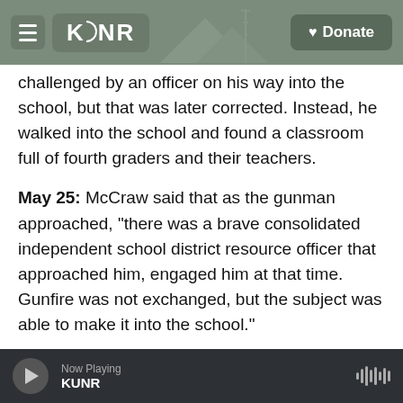KUNR | Donate
challenged by an officer on his way into the school, but that was later corrected. Instead, he walked into the school and found a classroom full of fourth graders and their teachers.
May 25: McCraw said that as the gunman approached, "there was a brave consolidated independent school district resource officer that approached him, engaged him at that time. Gunfire was not exchanged, but the subject was able to make it into the school."
May 26: "It was reported that a school district police officer confronted the suspect that was
Now Playing KUNR